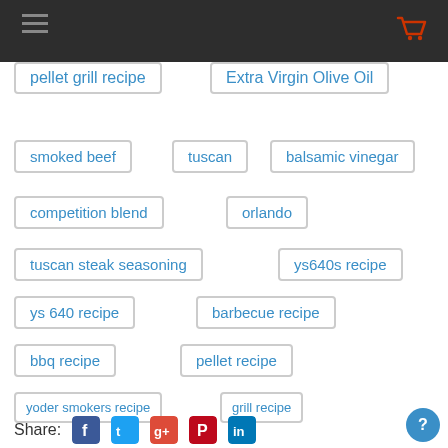pellet grill recipe
Extra Virgin Olive Oil
smoked beef
tuscan
balsamic vinegar
competition blend
orlando
tuscan steak seasoning
ys640s recipe
ys 640 recipe
barbecue recipe
bbq recipe
pellet recipe
yoder smokers recipe
grill recipe
smoker recipe
ys640 recipe
steakhouse fare
Share: